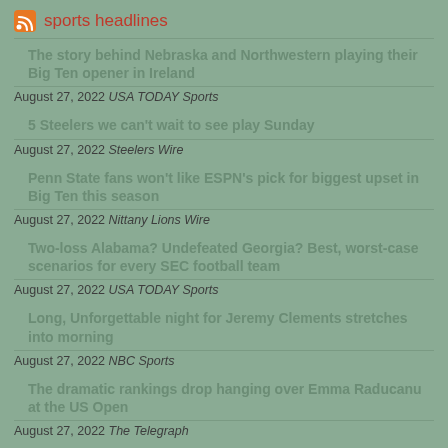sports headlines
The story behind Nebraska and Northwestern playing their Big Ten opener in Ireland
August 27, 2022 USA TODAY Sports
5 Steelers we can't wait to see play Sunday
August 27, 2022 Steelers Wire
Penn State fans won't like ESPN's pick for biggest upset in Big Ten this season
August 27, 2022 Nittany Lions Wire
Two-loss Alabama? Undefeated Georgia? Best, worst-case scenarios for every SEC football team
August 27, 2022 USA TODAY Sports
Long, Unforgettable night for Jeremy Clements stretches into morning
August 27, 2022 NBC Sports
The dramatic rankings drop hanging over Emma Raducanu at the US Open
August 27, 2022 The Telegraph